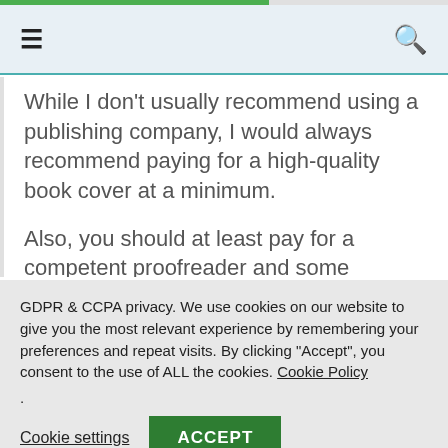≡  🔍
While I don't usually recommend using a publishing company, I would always recommend paying for a high-quality book cover at a minimum.

Also, you should at least pay for a competent proofreader and some ongoing book promotion
GDPR & CCPA privacy. We use cookies on our website to give you the most relevant experience by remembering your preferences and repeat visits. By clicking "Accept", you consent to the use of ALL the cookies. Cookie Policy
.
Cookie settings   ACCEPT